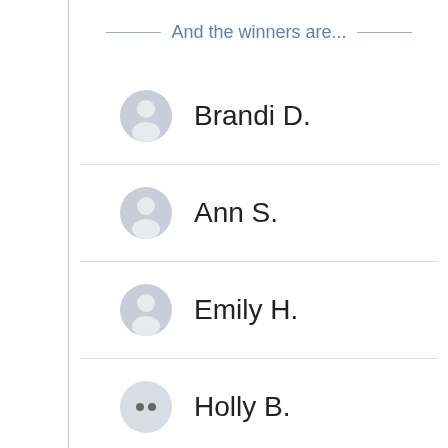And the winners are...
Brandi D.
Ann S.
Emily H.
Holly B.